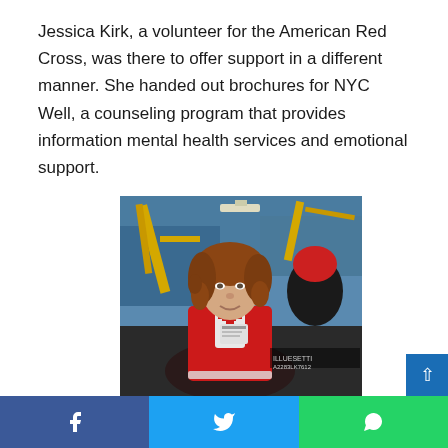Jessica Kirk, a volunteer for the American Red Cross, was there to offer support in a different manner. She handed out brochures for NYC Well, a counseling program that provides information mental health services and emotional support.
[Figure (photo): A woman wearing an American Red Cross volunteer vest (red) standing indoors at what appears to be a relief center or distribution facility. She has curly reddish-brown hair and is smiling. In the background, yellow equipment or cranes are visible along with other people.]